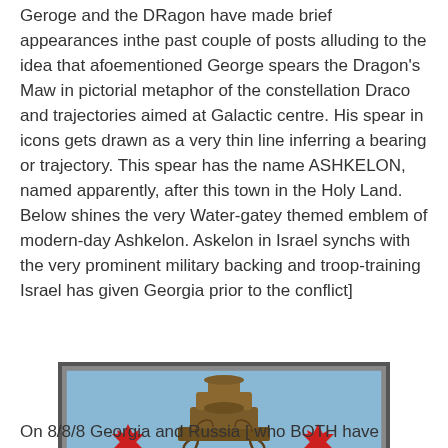Geroge and the DRagon have made brief appearances inthe past couple of posts alluding to the idea that afoementioned George spears the Dragon's Maw in pictorial metaphor of the constellation Draco and trajectories aimed at Galactic centre. His spear in icons gets drawn as a very thin line inferring a bearing or trajectory. This spear has the name ASHKELON, named apparently, after this town in the Holy Land. Below shines the very Water-gatey themed emblem of modern-day Ashkelon. Askelon in Israel synchs with the very prominent military backing and troop-training Israel has given Georgia prior to the conflict]
[Figure (illustration): Coat of arms / emblem of Ashkelon, Israel. A shield shape with light blue background featuring a brown Corinthian column in the center, five red six-pointed stars arranged around the column, and at the bottom a gray gear/cog wheel with blue water waves and white scroll/wave designs.]
On 8/8/8 Georgia and Russia [ who BOTH have